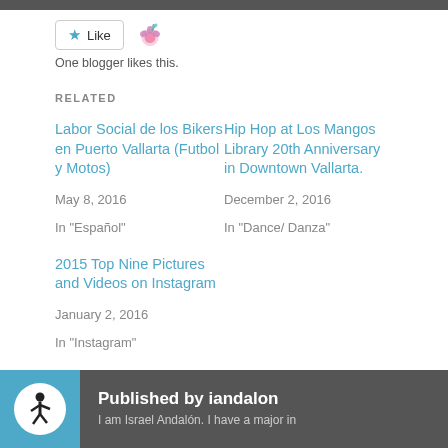[Figure (illustration): Like button with blue star and emoji icon]
One blogger likes this.
RELATED
Labor Social de los Bikers en Puerto Vallarta (Futbol y Motos)
May 8, 2016
In "Español"
Hip Hop at Los Mangos Library 20th Anniversary in Downtown Vallarta.
December 2, 2016
In "Dance/ Danza"
2015 Top Nine Pictures and Videos on Instagram
January 2, 2016
In "Instagram"
Published by iandalon
I am Israel Andalón. I have a major in